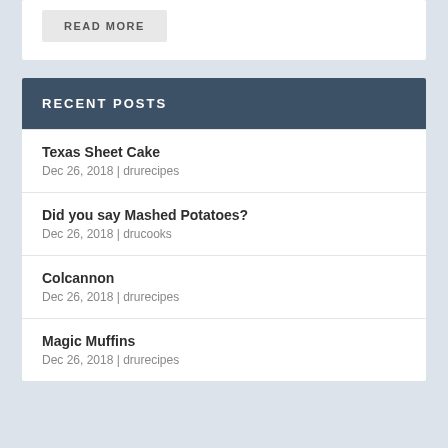READ MORE
RECENT POSTS
Texas Sheet Cake
Dec 26, 2018 | drurecipes
Did you say Mashed Potatoes?
Dec 26, 2018 | drucooks
Colcannon
Dec 26, 2018 | drurecipes
Magic Muffins
Dec 26, 2018 | drurecipes